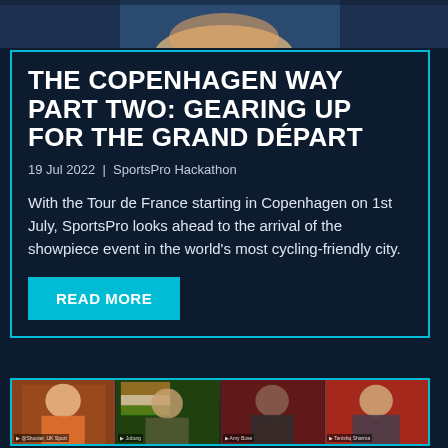[Figure (photo): Partial photo of a person at the top of the page, cropped]
THE COPENHAGEN WAY PART TWO: GEARING UP FOR THE GRAND DÉPART
19 Jul 2022  |  SportsPro Hackathon
With the Tour de France starting in Copenhagen on 1st July, SportsPro looks ahead to the arrival of the showpiece event in the world's most cycling-friendly city.
READ MORE
[Figure (photo): Video call screenshot showing four participants in a grid: person in orange top, person with Indian flag background, person with dark background (Amy Bose), person with red background (Tanishq Sharma)]